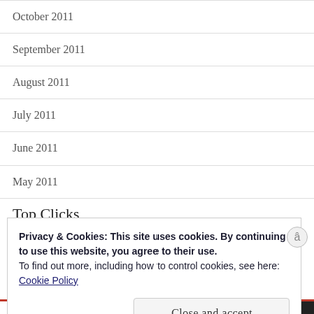October 2011
September 2011
August 2011
July 2011
June 2011
May 2011
Top Clicks
Privacy & Cookies: This site uses cookies. By continuing to use this website, you agree to their use.
To find out more, including how to control cookies, see here:
Cookie Policy
Close and accept